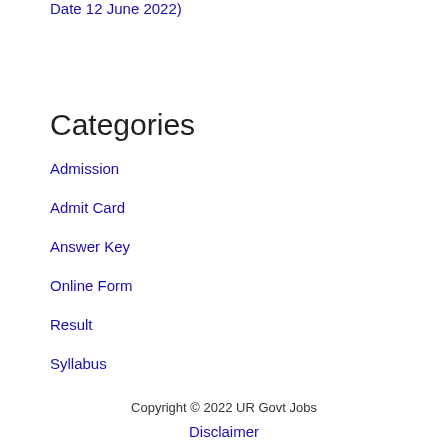Date 12 June 2022)
Categories
Admission
Admit Card
Answer Key
Online Form
Result
Syllabus
Copyright © 2022 UR Govt Jobs
Disclaimer